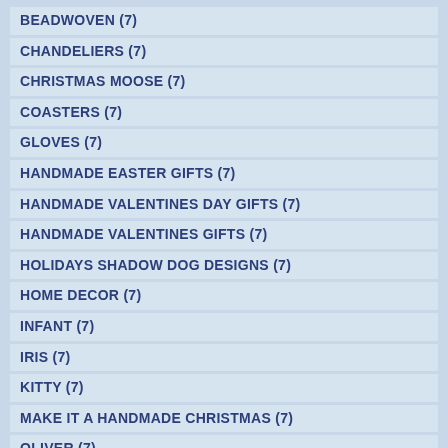BEADWOVEN (7)
CHANDELIERS (7)
CHRISTMAS MOOSE (7)
COASTERS (7)
GLOVES (7)
HANDMADE EASTER GIFTS (7)
HANDMADE VALENTINES DAY GIFTS (7)
HANDMADE VALENTINES GIFTS (7)
HOLIDAYS SHADOW DOG DESIGNS (7)
HOME DECOR (7)
INFANT (7)
IRIS (7)
KITTY (7)
MAKE IT A HANDMADE CHRISTMAS (7)
OLIVER (7)
PINK OPAL (7)
QUARTZ (7)